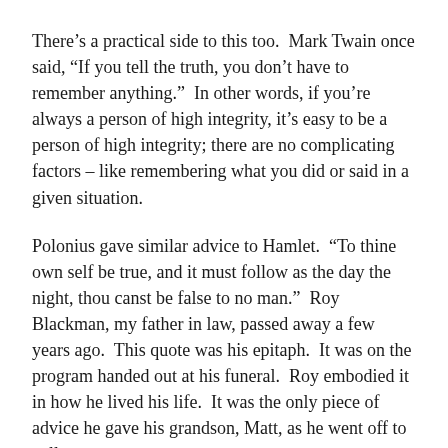There's a practical side to this too.  Mark Twain once said, “If you tell the truth, you don’t have to remember anything.”  In other words, if you’re always a person of high integrity, it’s easy to be a person of high integrity; there are no complicating factors – like remembering what you did or said in a given situation.
Polonius gave similar advice to Hamlet.  “To thine own self be true, and it must follow as the day the night, thou canst be false to no man.”  Roy Blackman, my father in law, passed away a few years ago.  This quote was his epitaph.  It was on the program handed out at his funeral.  Roy embodied it in how he lived his life.  It was the only piece of advice he gave his grandson, Matt, as he went off to college.
Oprah, John Maxwell, Mark Twain and Shakespeare are all in agreement on one common sense piece of career